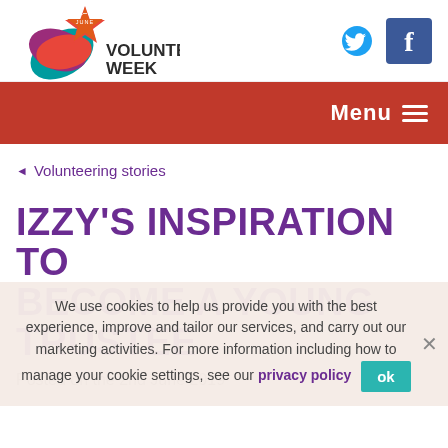[Figure (logo): Volunteers' Week logo with star badge showing 1-7 June and a multicolored swoosh shape]
[Figure (logo): Twitter bird icon (blue) and Facebook 'f' icon (dark blue) social media logos]
Menu
◄ Volunteering stories
IZZY'S INSPIRATION TO BECOME A YOUNG TRUSTEE
We use cookies to help us provide you with the best experience, improve and tailor our services, and carry out our marketing activities. For more information including how to manage your cookie settings, see our privacy policy
Posted on the 2nd June 2019